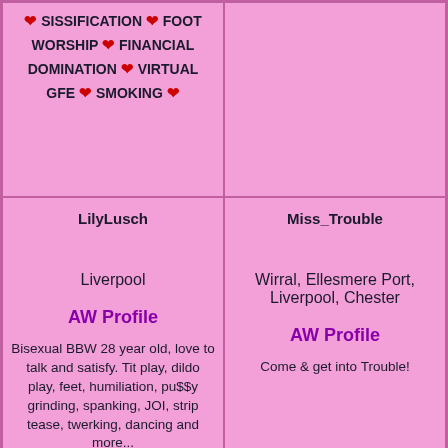❤ SISSIFICATION ❤ FOOT WORSHIP ❤ FINANCIAL DOMINATION ❤ VIRTUAL GFE ❤ SMOKING ❤
LilyLusch
Miss_Trouble
Liverpool
Wirral, Ellesmere Port, Liverpool, Chester
AW Profile
AW Profile
Bisexual BBW 28 year old, love to talk and satisfy. Tit play, dildo play, feet, humiliation, pu$$y grinding, spanking, JOI, strip tease, twerking, dancing and more...
Come & get into Trouble!